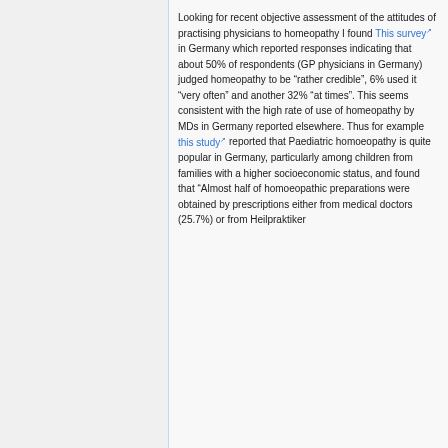Looking for recent objective assessment of the attitudes of practising physicians to homeopathy I found This survey in Germany which reported responses indicating that about 50% of respondents (GP physicians in Germany) judged homeopathy to be “rather credible”, 6% used it “very often” and another 32% “at times”. This seems consistent with the high rate of use of homeopathy by MDs in Germany reported elsewhere. Thus for example this study reported that Paediatric homoeopathy is quite popular in Germany, particularly among children from families with a higher socioeconomic status, and found that “Almost half of homoeopathic preparations were obtained by prescriptions either from medical doctors (25.7%) or from Heilpraktiker